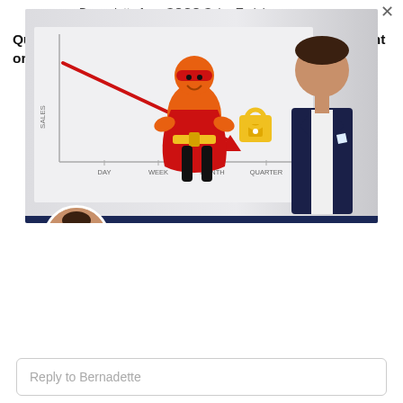[Figure (screenshot): Video thumbnail showing a man in a dark navy suit standing next to a whiteboard chart. The chart shows a declining red arrow line from upper-left to a padlock icon, with x-axis labels DAY, WEEK, MONTH, QUARTER, YEAR and y-axis labeled SALES. A cartoon orange superhero character stands in front of the chart. The scene represents sales training content.]
Bernadette from SOCO Sales Training
Questions about sales training, a speaker for your event or e-learning? I'm happy to help!
Reply to Bernadette